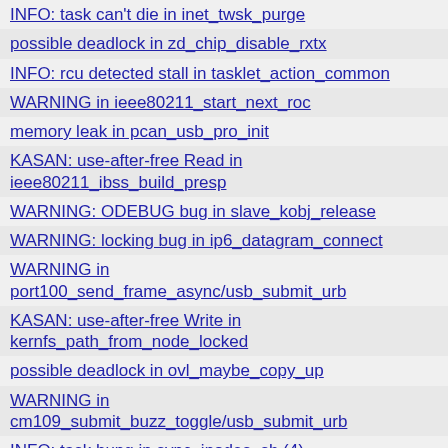INFO: task can't die in inet_twsk_purge
possible deadlock in zd_chip_disable_rxtx
INFO: rcu detected stall in tasklet_action_common
WARNING in ieee80211_start_next_roc
memory leak in pcan_usb_pro_init
KASAN: use-after-free Read in ieee80211_ibss_build_presp
WARNING: ODEBUG bug in slave_kobj_release
WARNING: locking bug in ip6_datagram_connect
WARNING in port100_send_frame_async/usb_submit_urb
KASAN: use-after-free Write in kernfs_path_from_node_locked
possible deadlock in ovl_maybe_copy_up
WARNING in cm109_submit_buzz_toggle/usb_submit_urb
INFO: task hung in sync_inodes_sb (4)
INFO: task can't die in shrink_inactive_list (2)
WARNING in corrupted/usb_submit_urb (2)
INFO: task can't die in perf_event_free_task
KASAN: use-after-free Read in blk_update_request
memory leak in ath9k_hif_usb_firmware_cb
WARNING in put_i2c_dev
memory leak in anon_inode_getfile
general protection fault in__ foot_files